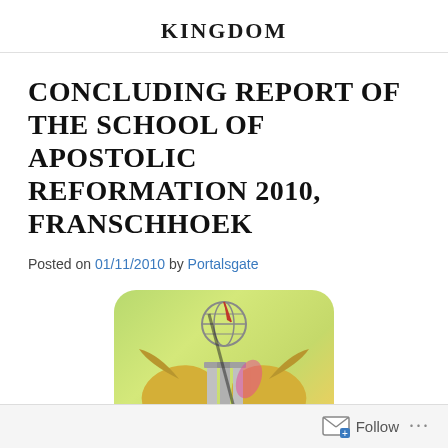KINGDOM
CONCLUDING REPORT OF THE SCHOOL OF APOSTOLIC REFORMATION 2010, FRANSCHHOEK
Posted on 01/11/2010 by Portalsgate
[Figure (logo): Emblem/logo with a green-yellow gradient rounded rectangle background featuring an eagle, columns, open book, laurel wreath, globe and decorative elements in gold and silver tones.]